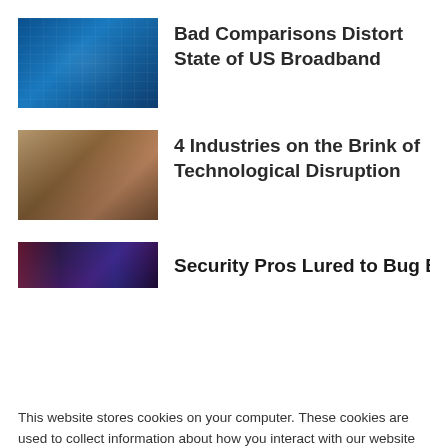Bad Comparisons Distort State of US Broadband
4 Industries on the Brink of Technological Disruption
Security Pros Lured to Bug Bounties by Big
This website stores cookies on your computer. These cookies are used to collect information about how you interact with our website and allow us to remember you. We use this information in order to improve and customize your browsing experience and for analytics and metrics about our visitors both on this website and other media. To find out more about the cookies we use, see our Privacy Policy. California residents have the right to direct us not to sell their personal information to third parties by filing an Opt-Out Request: Do Not Sell My Personal Info.